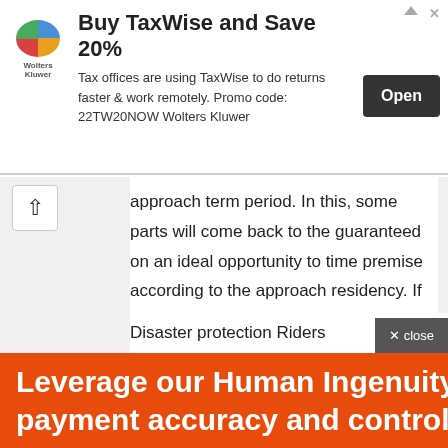[Figure (screenshot): Advertisement banner for TaxWise with Wolters Kluwer logo, headline 'Buy TaxWise and Save 20%', body text, and Open button]
approach term period. In this, some parts will come back to the guaranteed on an ideal opportunity to time premise according to the approach residency. If there should arise an occurrence of death full whole, the guaranteed sum will be paid out. It additionally incorporates a reward. In view of these extra highlights, the premiums of this arrangement are higher than the typical disaster protection plans on the web.
Disaster protection Riders
[Figure (screenshot): Orange advertisement banner at bottom: 'Leverage our Human Ingenuity to improve payment accuracy and control costs']